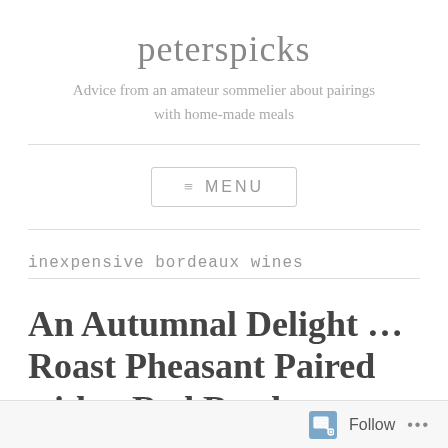peterspicks
Advice from an amateur sommelier about pairings with home-made meals
≡ MENU
inexpensive bordeaux wines
An Autumnal Delight … Roast Pheasant Paired with a Red Bordeaux
Follow ...